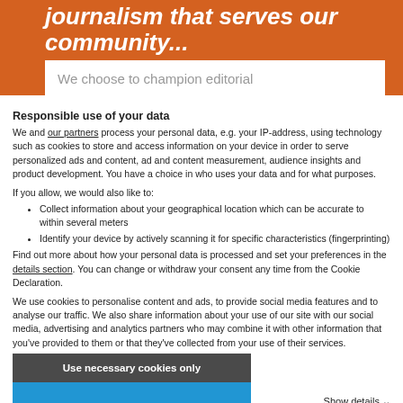journalism that serves our community...
We choose to champion editorial
Responsible use of your data
We and our partners process your personal data, e.g. your IP-address, using technology such as cookies to store and access information on your device in order to serve personalized ads and content, ad and content measurement, audience insights and product development. You have a choice in who uses your data and for what purposes.
If you allow, we would also like to:
Collect information about your geographical location which can be accurate to within several meters
Identify your device by actively scanning it for specific characteristics (fingerprinting)
Find out more about how your personal data is processed and set your preferences in the details section. You can change or withdraw your consent any time from the Cookie Declaration.
We use cookies to personalise content and ads, to provide social media features and to analyse our traffic. We also share information about your use of our site with our social media, advertising and analytics partners who may combine it with other information that you've provided to them or that they've collected from your use of their services.
Use necessary cookies only
Show details